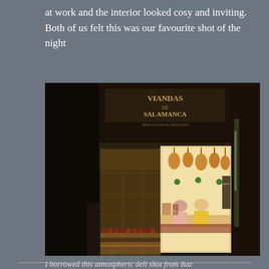at work and the interior looked cosy and inviting. Both of us felt this was our favourite shot of the night
[Figure (photo): Night photograph of a Spanish deli (Viandas de Salamanca) storefront. The interior is warmly lit, showing hanging hams and cured meats suspended from the ceiling, shelves of products, and two people working behind the counter. The exterior is dark.]
I borrowed this atmospheric deli shot from Baz